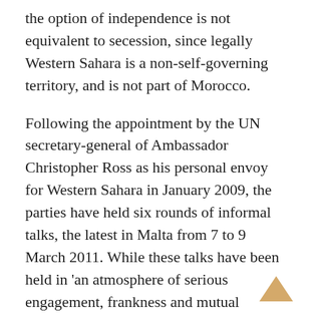the option of independence is not equivalent to secession, since legally Western Sahara is a non-self-governing territory, and is not part of Morocco.
Following the appointment by the UN secretary-general of Ambassador Christopher Ross as his personal envoy for Western Sahara in January 2009, the parties have held six rounds of informal talks, the latest in Malta from 7 to 9 March 2011. While these talks have been held in 'an atmosphere of serious engagement, frankness and mutual respect', they largely remain in stalemate due to Morocco's refusal thus far to discuss the substance of the Polisario Front proposal or other options for a process of self-determination, which would include independence as one of the options to be put to a vote. In this regard, the Polisario Front welcomes the invitation to the parties in the most